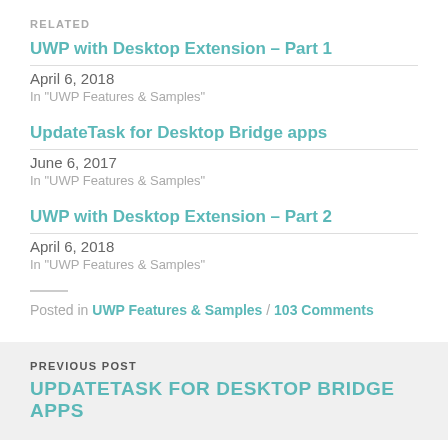RELATED
UWP with Desktop Extension – Part 1
April 6, 2018
In "UWP Features & Samples"
UpdateTask for Desktop Bridge apps
June 6, 2017
In "UWP Features & Samples"
UWP with Desktop Extension – Part 2
April 6, 2018
In "UWP Features & Samples"
Posted in UWP Features & Samples / 103 Comments
PREVIOUS POST
UPDATETASK FOR DESKTOP BRIDGE APPS